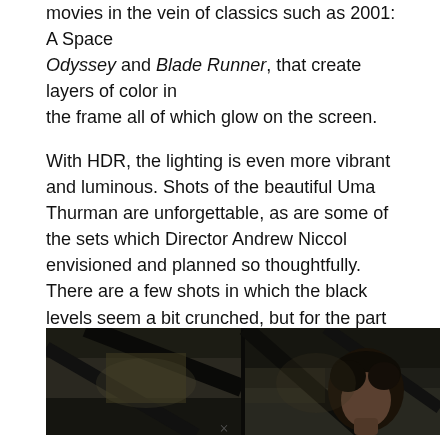movies in the vein of classics such as 2001: A Space Odyssey and Blade Runner, that create layers of color in the frame all of which glow on the screen.
With HDR, the lighting is even more vibrant and luminous. Shots of the beautiful Uma Thurman are unforgettable, as are some of the sets which Director Andrew Niccol envisioned and planned so thoughtfully. There are a few shots in which the black levels seem a bit crunched, but for the part the contrast is good and detail in shadow areas more evident with HDR enabled.
[Figure (photo): A dark, cinematic still from a film showing a figure seated, with dramatic lighting and shadow. The image appears split into two panels side by side.]
×